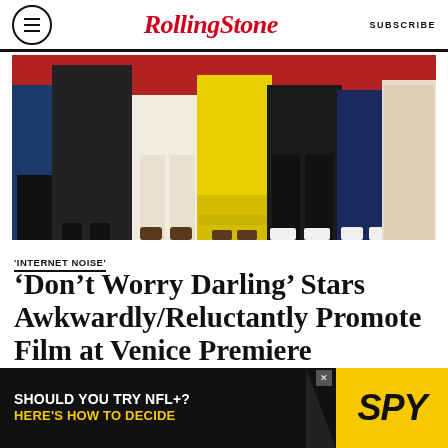Rolling Stone | SUBSCRIBE
[Figure (photo): Red carpet photo showing legs and lower bodies of multiple people standing together at the Venice Film Festival premiere of 'Don't Worry Darling'. People are wearing various outfits including a yellow dress, black sequined outfit, floral dress, and black trousers on a red carpet.]
'INTERNET NOISE'
‘Don’t Worry Darling’ Stars Awkwardly/Reluctantly Promote Film at Venice Premiere
BY DANIEL KREPS
[Figure (infographic): Advertisement banner: SHOULD YOU TRY NFL+? HERE'S HOW TO DECIDE | SPY logo on yellow background]